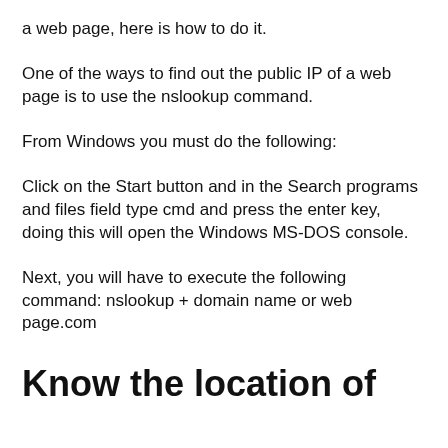a web page, here is how to do it.
One of the ways to find out the public IP of a web page is to use the nslookup command.
From Windows you must do the following:
Click on the Start button and in the Search programs and files field type cmd and press the enter key, doing this will open the Windows MS-DOS console.
Next, you will have to execute the following command: nslookup + domain name or web page.com
Know the location of